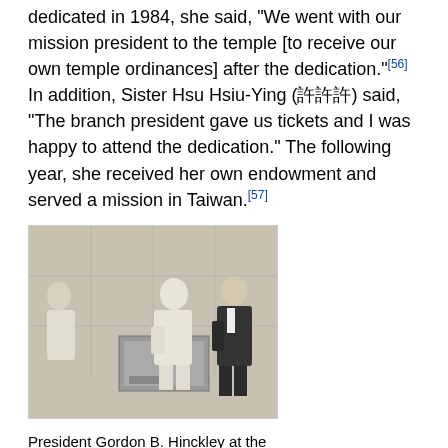dedicated in 1984, she said, "We went with our mission president to the temple [to receive our own temple ordinances] after the dedication."[56] In addition, Sister Hsu Hsiu-Ying (許許許) said, "The branch president gave us tickets and I was happy to attend the dedication." The following year, she received her own endowment and served a mission in Taiwan.[57]
[Figure (photo): Black and white photograph of President Gordon B. Hinckley at the Taipei Taiwan Temple dedication in November 1984. A man in white clothing stands near a stone fixture, while another man in a dark suit stands nearby.]
President Gordon B. Hinckley at the Taipei Taiwan Temple dedication in November 1984. Courtesy of Phil and Brenda Frandsen.
Sister Mao Chang Mei-Yun (許許許許), who attended the temple dedication, felt a special spirit as she entered the temple and heard the choir sing. She was grateful that missionaries could now receive their endowment, and she "made a goal to marry in